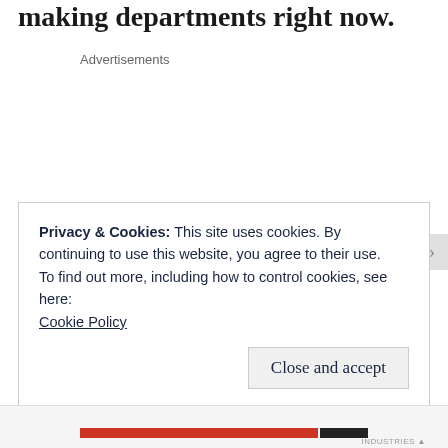making departments right now.
Advertisements
Privacy & Cookies: This site uses cookies. By continuing to use this website, you agree to their use.
To find out more, including how to control cookies, see here:
Cookie Policy
Close and accept